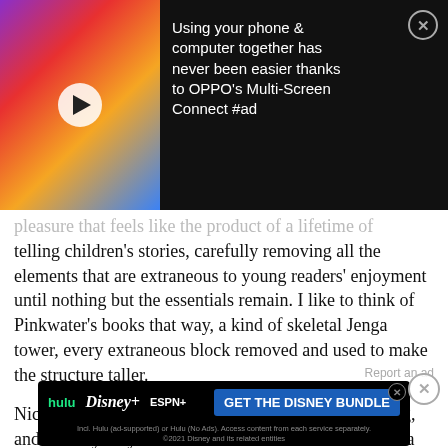[Figure (screenshot): Video thumbnail ad overlay — colorful animated image with play button on left, text on right reading 'Using your phone & computer together has never been easier thanks to OPPO's Multi-Screen Connect #ad', with close (X) button]
pleasure that feels like the product of a lifetime of telling children's stories, carefully removing all the elements that are extraneous to young readers' enjoyment until nothing but the essentials remain. I like to think of Pinkwater's books that way, a kind of skeletal Jenga tower, every extraneous block removed and used to make the structure taller.
Nick and Maxine live in a high-rise apartment building, and one day they discover that one window overlooks a tiny, old fashioned cottage in a small gree between their tower and several others. The building's
Report an ad
[Figure (screenshot): Disney Bundle advertisement banner showing hulu, Disney+, ESPN+ logos and 'GET THE DISNEY BUNDLE' CTA button. Fine print: Incl. Hulu (ad-supported) or Hulu (No Ads). Access content from each service separately. ©2021 Disney and its related entities]